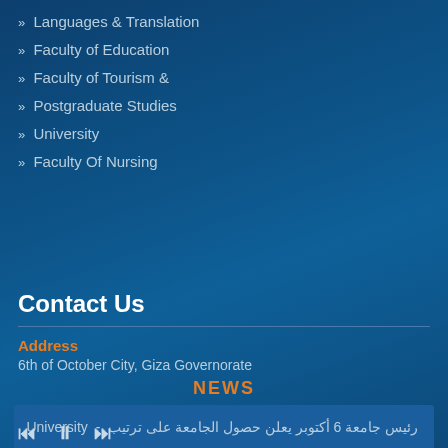» Languages & Translation
» Faculty of Education
» Faculty of Tourism &
» Postgraduate Studies
» University
» Faculty Of Nursing
Contact Us
Address
6th of October City, Giza Governorate
NEWS
رئيس جامعة 6 أكتوبر يعلن حصول الجامعة على ترتيب - University